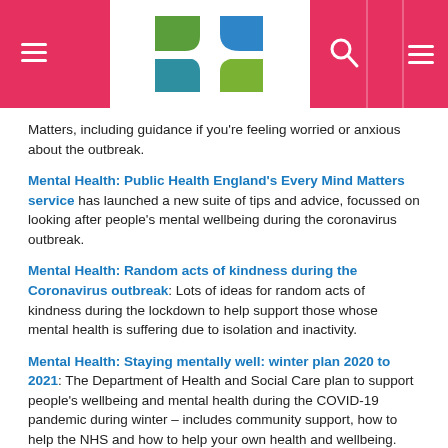Government/Health website header with logo and navigation
Matters, including guidance if you're feeling worried or anxious about the outbreak.
Mental Health: Public Health England's Every Mind Matters service has launched a new suite of tips and advice, focussed on looking after people's mental wellbeing during the coronavirus outbreak.
Mental Health: Random acts of kindness during the Coronavirus outbreak: Lots of ideas for random acts of kindness during the lockdown to help support those whose mental health is suffering due to isolation and inactivity.
Mental Health: Staying mentally well: winter plan 2020 to 2021: The Department of Health and Social Care plan to support people's wellbeing and mental health during the COVID-19 pandemic during winter – includes community support, how to help the NHS and how to help your own health and wellbeing.
Mental Health: The Farm Safety Foundation guide on coping with the stress of COVID-19: Outlines what mental health actually means, it offers some top tips for working at home, building your resilience, identifying the triggers and signs of mental ill health,